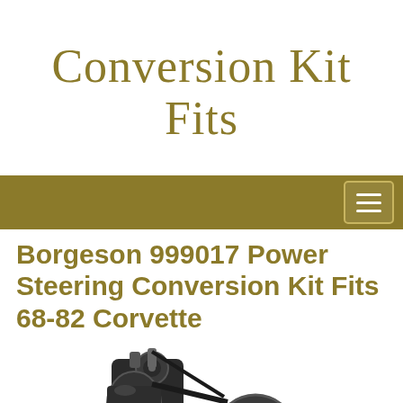Conversion Kit Fits
Borgeson 999017 Power Steering Conversion Kit Fits 68-82 Corvette
[Figure (photo): Photograph of the Borgeson 999017 Power Steering Conversion Kit, showing a black metal mechanical assembly with pulleys and brackets, partially cropped at the bottom of the page.]